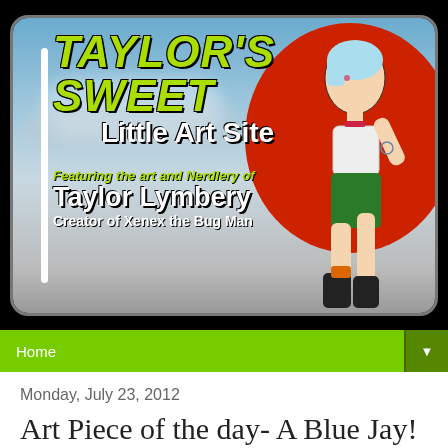[Figure (illustration): Taylor's Sweet Little Art Site banner on black background. Green grunge-style italic text 'TAYLOR'S SWEET' as main title, white 'Little Art Site' subtitle, yellow-green italic 'Featuring the art and Nerdlery of', bold white 'Taylor Lymbery', bold white 'Creator of Xenex the Bug Man'. Background has a sky scene with a large red circle and an illustrated pin-up style female character in green shorts, white top, with blue-tinted hair. White vertical stripe accent on left side. Banner has rounded rectangle border.]
Home ▼
Monday, July 23, 2012
Art Piece of the day- A Blue Jay!